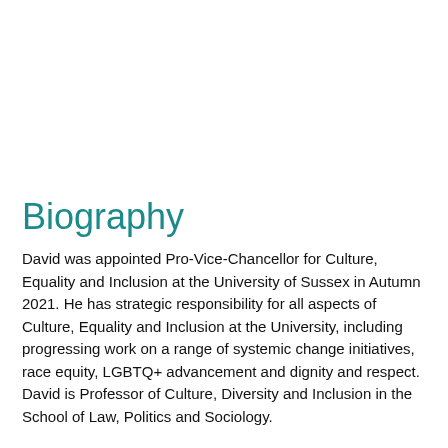Biography
David was appointed Pro-Vice-Chancellor for Culture, Equality and Inclusion at the University of Sussex in Autumn 2021. He has strategic responsibility for all aspects of Culture, Equality and Inclusion at the University, including progressing work on a range of systemic change initiatives, race equity, LGBTQ+ advancement and dignity and respect. David is Professor of Culture, Diversity and Inclusion in the School of Law, Politics and Sociology.